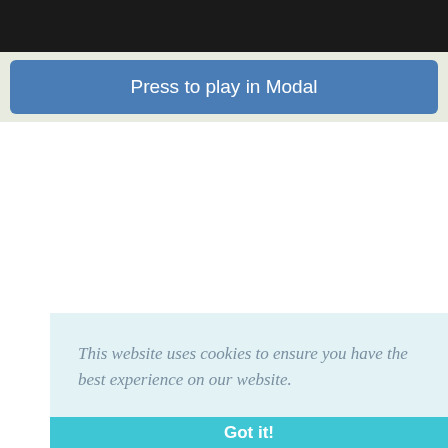[Figure (screenshot): Dark banner image at top of page]
Press to play in Modal
This website uses cookies to ensure you have the best experience on our website.
Got it!